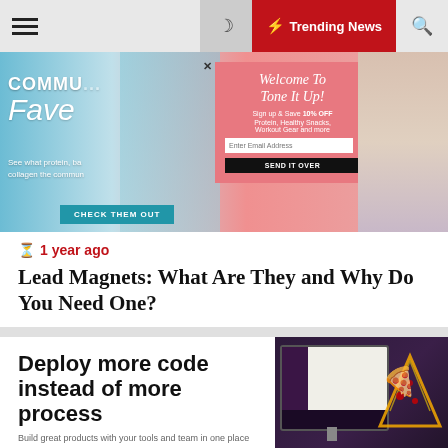Trending News (navigation bar)
[Figure (photo): Advertising banner for Tone It Up fitness community with a woman in athletic wear, welcome popup, and product imagery]
1 year ago
Lead Magnets: What Are They and Why Do You Need One?
Deploy more code instead of more process
Build great products with your tools and team in one place
[Figure (screenshot): Screenshot of a project management or communication app on a monitor with neon pizza decoration]
:egy
it...
[Figure (photo): Red-toned interior architectural photo]
Space Forge secures £7.6m to fund trial of factory satellites
[Figure (photo): Dark blue bridge or architectural photo]